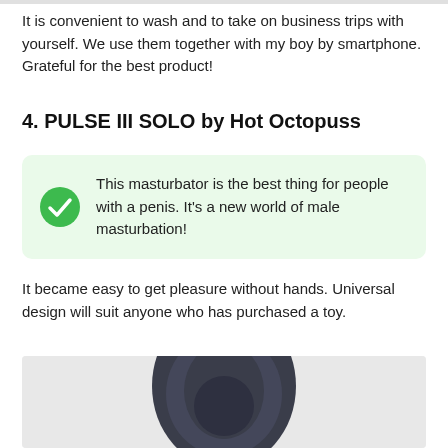It is convenient to wash and to take on business trips with yourself. We use them together with my boy by smartphone. Grateful for the best product!
4. PULSE III SOLO by Hot Octopuss
This masturbator is the best thing for people with a penis. It's a new world of male masturbation!
It became easy to get pleasure without hands. Universal design will suit anyone who has purchased a toy.
[Figure (photo): Top-down photo of a dark navy/charcoal colored product against a light gray background]